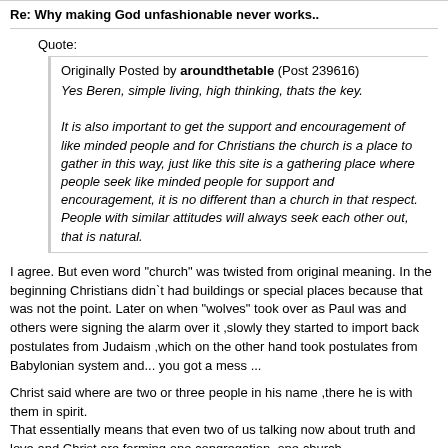Re: Why making God unfashionable never works..
Quote:
Originally Posted by aroundthetable (Post 239616)
Yes Beren, simple living, high thinking, thats the key.

It is also important to get the support and encouragement of like minded people and for Christians the church is a place to gather in this way, just like this site is a gathering place where people seek like minded people for support and encouragement, it is no different than a church in that respect. People with similar attitudes will always seek each other out, that is natural.
I agree. But even word "church" was twisted from original meaning. In the beginning Christians didn`t had buildings or special places because that was not the point. Later on when "wolves" took over as Paul was and others were signing the alarm over it ,slowly they started to import back postulates from Judaism ,which on the other hand took postulates from Babylonian system and... you got a mess ...
Christ said where are two or three people in his name ,there he is with them in spirit.
That essentially means that even two of us talking now about truth and love and Christ are forming one congregation ,one church.